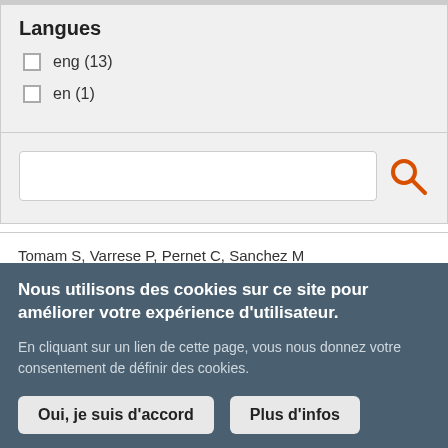Langues
eng (13)
en (1)
[Figure (screenshot): Search input box with a red magnifying glass search icon button]
Tomam S, Varrese P, Pernet C, Sanchez M
Nous utilisons des cookies sur ce site pour améliorer votre expérience d'utilisateur.
En cliquant sur un lien de cette page, vous nous donnez votre consentement de définir des cookies.
Oui, je suis d'accord
Plus d'infos